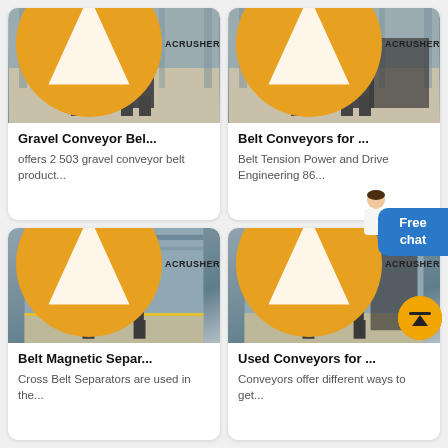[Figure (photo): Industrial crusher/conveyor machine in factory warehouse with ACRUSHER branding badge - top left card]
Gravel Conveyor Bel...
offers 2 503 gravel conveyor belt product...
[Figure (photo): Industrial crusher/conveyor machine in factory warehouse with ACRUSHER branding badge - top right card]
Belt Conveyors for ...
Belt Tension Power and Drive Engineering 86...
[Figure (photo): Industrial belt magnetic separator machine in factory with ACRUSHER branding badge - bottom left card]
Belt Magnetic Separ...
Cross Belt Separators are used in the...
[Figure (photo): Industrial conveyor/crusher machine in factory with ACRUSHER branding badge and scroll-to-top button overlay - bottom right card]
Used Conveyors for ...
Conveyors offer different ways to get...